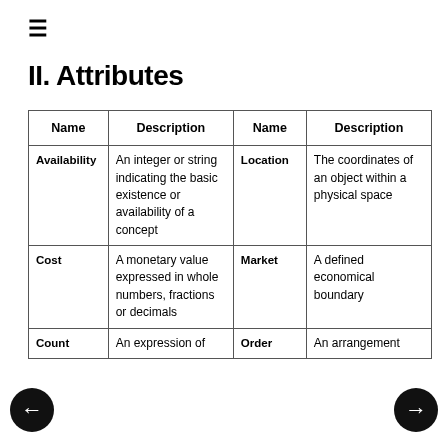≡
II. Attributes
| Name | Description | Name | Description |
| --- | --- | --- | --- |
| Availability | An integer or string indicating the basic existence or availability of a concept | Location | The coordinates of an object within a physical space |
| Cost | A monetary value expressed in whole numbers, fractions or decimals | Market | A defined economical boundary |
| Count | An expression of | Order | An arrangement |